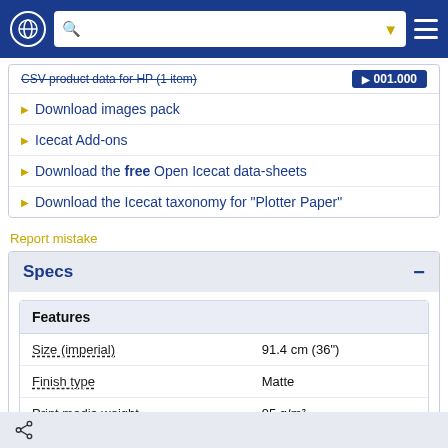Navigation bar with globe icon, search box, filter icon, and hamburger menu
CSV product data for HP (1 item)
Download images pack
Icecat Add-ons
Download the free Open Icecat data-sheets
Download the Icecat taxonomy for "Plotter Paper"
Report mistake
Specs
| Features |  |
| --- | --- |
| Size (imperial) | 91.4 cm (36") |
| Finish type | Matte |
| Print media weight | 95 g/m² |
Operational conditions
Share